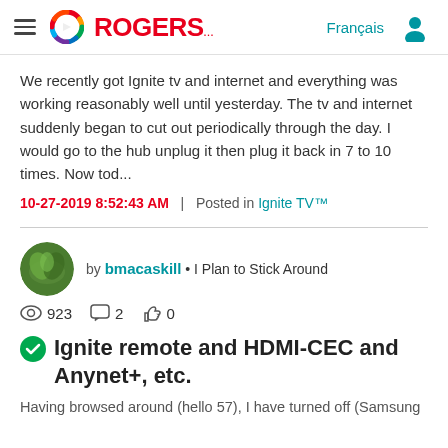Rogers — Français [navigation header]
We recently got Ignite tv and internet and everything was working reasonably well until yesterday. The tv and internet suddenly began to cut out periodically through the day. I would go to the hub unplug it then plug it back in 7 to 10 times. Now tod...
10-27-2019 8:52:43 AM  |  Posted in Ignite TV™
by bmacaskill • I Plan to Stick Around
923 views  2 comments  0 likes
Ignite remote and HDMI-CEC and Anynet+, etc.
Having browsed around (hello 57), I have turned off (Samsung